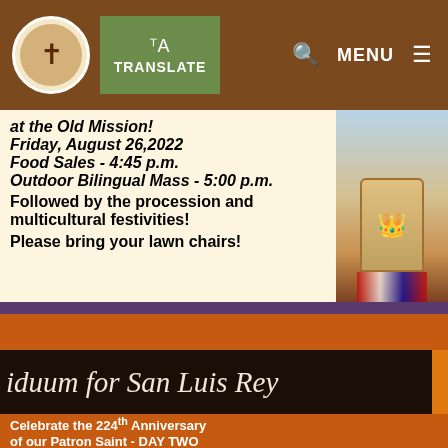TRANSLATE | MENU
at the Old Mission!
Friday, August 26,2022
Food Sales  - 4:45 p.m.
Outdoor Bilingual Mass - 5:00 p.m.
Followed by the procession and multicultural festivities!
Please bring your lawn chairs!
[Figure (photo): Religious statue with floral decorations and flags]
iduum for San Luis Rey
Celebrate the 224th Anniversary of our Patron Saint  - DAY TWO